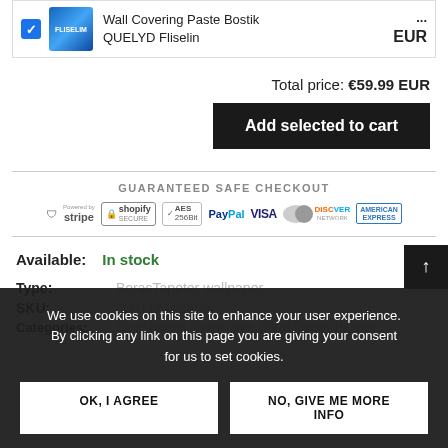[Figure (screenshot): Product row with checkbox, product image of QUELYD Fliselin wall covering paste, product name, and price in EUR]
Wall Covering Paste Bostik QUELYD Fliselin
Total price: €59.99 EUR
Add selected to cart
GUARANTEED SAFE CHECKOUT
[Figure (infographic): Payment trust badges: stripe, shopify secure, AES 256bit, PayPal, VISA, Mastercard, DISCOVER, AMERICAN EXPRESS]
Available: In stock
Type: BorasTapeter wallpaper
SKU: 30011wallpaper
Categories: BorasTapeter Guest room, BorasTapeter Hallway
We use cookies on this site to enhance your user experience. By clicking any link on this page you are giving your consent for us to set cookies.
OK, I AGREE
NO, GIVE ME MORE INFO